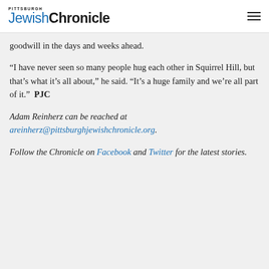Pittsburgh Jewish Chronicle
goodwill in the days and weeks ahead.
“I have never seen so many people hug each other in Squirrel Hill, but that’s what it’s all about,” he said. “It’s a huge family and we’re all part of it.”  PJC
Adam Reinherz can be reached at areinherz@pittsburghjewishchronicle.org.
Follow the Chronicle on Facebook and Twitter for the latest stories.